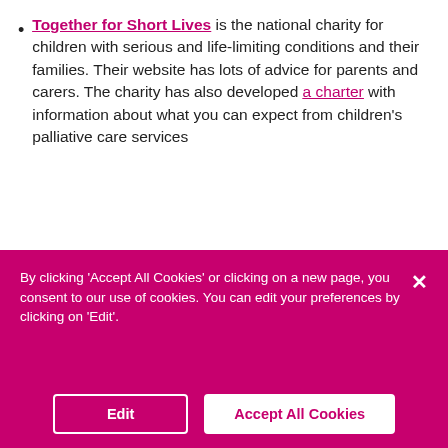Together for Short Lives is the national charity for children with serious and life-limiting conditions and their families. Their website has lots of advice for parents and carers. The charity has also developed a charter with information about what you can expect from children's palliative care services
More information
[Figure (other): Dark teal/navy rounded rectangle banner with a white heart/NHS-style icon on the right]
By clicking 'Accept All Cookies' or clicking on a new page, you consent to our use of cookies. You can edit your preferences by clicking on 'Edit'.